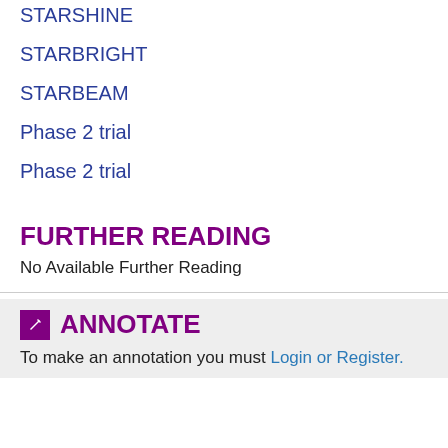STARSHINE
STARBRIGHT
STARBEAM
Phase 2 trial
Phase 2 trial
FURTHER READING
No Available Further Reading
ANNOTATE
To make an annotation you must Login or Register.